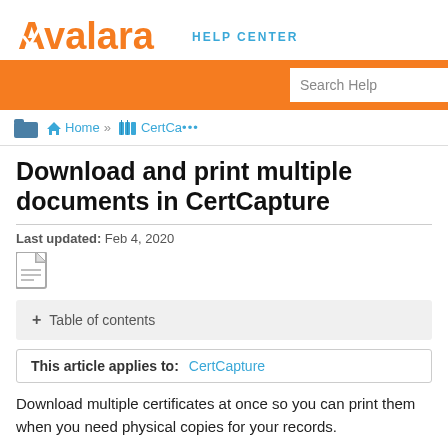Avalara HELP CENTER
[Figure (screenshot): Orange banner with Search Help input box]
Home >> CertCa...
Download and print multiple documents in CertCapture
Last updated: Feb 4, 2020
[Figure (other): PDF document icon]
+ Table of contents
This article applies to: CertCapture
Download multiple certificates at once so you can print them when you need physical copies for your records.